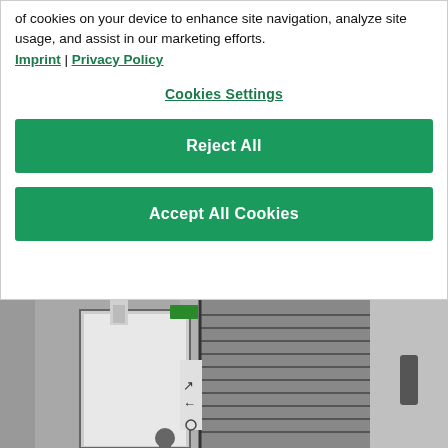of cookies on your device to enhance site navigation, analyze site usage, and assist in our marketing efforts.
Imprint | Privacy Policy
Cookies Settings
Reject All
Accept All Cookies
[Figure (photo): Black and white photograph of a building interior showing a staircase, a doorway with a white door, directional arrow signs, and a person visible in the background near the bottom.]